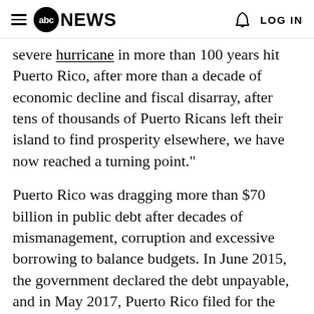abc NEWS  LOG IN
severe hurricane in more than 100 years hit Puerto Rico, after more than a decade of economic decline and fiscal disarray, after tens of thousands of Puerto Ricans left their island to find prosperity elsewhere, we have now reached a turning point."
Puerto Rico was dragging more than $70 billion in public debt after decades of mismanagement, corruption and excessive borrowing to balance budgets. In June 2015, the government declared the debt unpayable, and in May 2017, Puerto Rico filed for the biggest U.S. municipal bankruptcy in history.